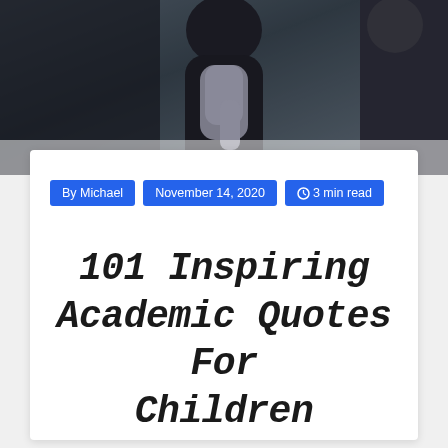[Figure (photo): A photograph showing people in dark winter clothing, one wearing a grey knitted sweater, against a blurred background.]
By  Michael   November 14, 2020   ⊙3 min read
101 Inspiring Academic Quotes For Children